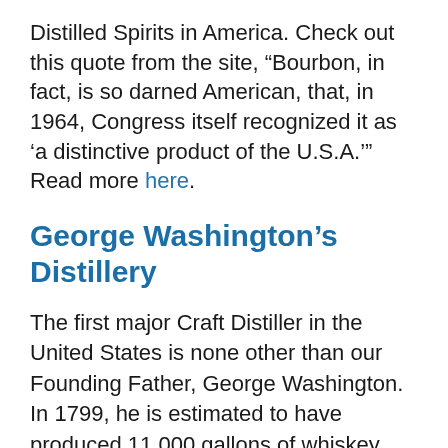Distilled Spirits in America. Check out this quote from the site, “Bourbon, in fact, is so darned American, that, in 1964, Congress itself recognized it as ‘a distinctive product of the U.S.A.’” Read more here.
George Washington’s Distillery
The first major Craft Distiller in the United States is none other than our Founding Father, George Washington. In 1799, he is estimated to have produced 11,000 gallons of whiskey. He was so detailed in his process that on the war trail during the Revolution, he frequently wrote home to Martha with specific instructions on how to keep the